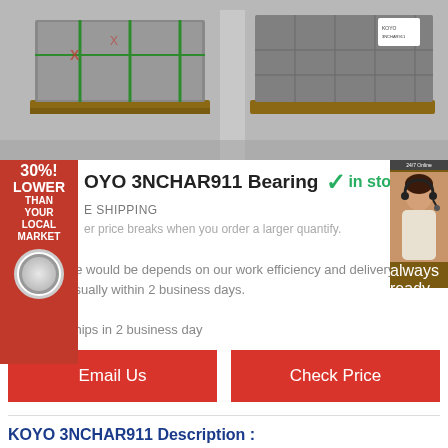[Figure (photo): Warehouse photo showing two pallets wrapped in plastic shrink wrap, stacked with bearing boxes, on wooden pallets in a warehouse setting.]
KOYO 3NCHAR911 Bearing — in stock
FREE SHIPPING
Lower price breaks when you order a larger quantify.
Leading time would be depends on our work efficiency and delivery schedule, usually within 2 business days.
Shipping: Ships in 2 business day
Email Us
Check Price
KOYO 3NCHAR911 Description :